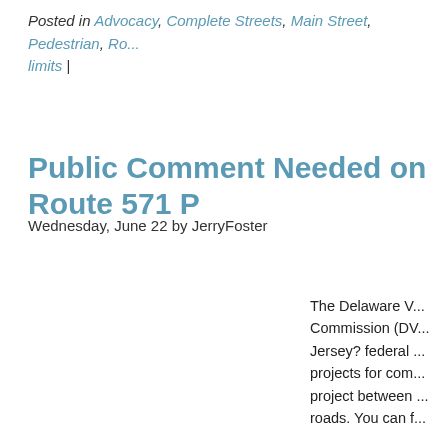Posted in Advocacy, Complete Streets, Main Street, Pedestrian, Ro... limits |
Public Comment Needed on Route 571 P...
Wednesday, June 22 by JerryFoster
The Delaware V... Commission (DV... Jersey? federal ... projects for com... project between ... roads. You can f...
The West Winds... Alliance's recom... here:
The current desi... left turn lane, sid... compatible sho...